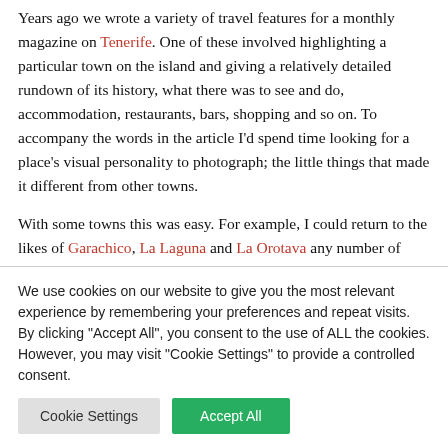Years ago we wrote a variety of travel features for a monthly magazine on Tenerife. One of these involved highlighting a particular town on the island and giving a relatively detailed rundown of its history, what there was to see and do, accommodation, restaurants, bars, shopping and so on. To accompany the words in the article I'd spend time looking for a place's visual personality to photograph; the little things that made it different from other towns.
With some towns this was easy. For example, I could return to the likes of Garachico, La Laguna and La Orotava any number of times and come away with a different batch of
We use cookies on our website to give you the most relevant experience by remembering your preferences and repeat visits. By clicking "Accept All", you consent to the use of ALL the cookies. However, you may visit "Cookie Settings" to provide a controlled consent.